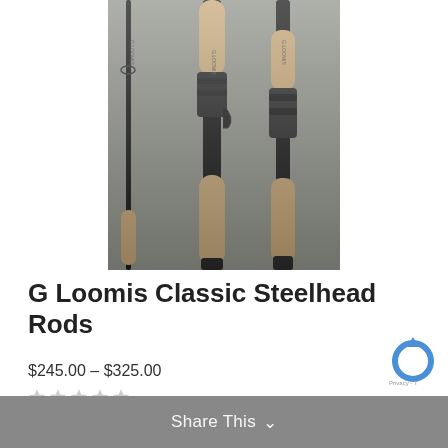[Figure (photo): Photo of three G Loomis Classic Steelhead fishing rods with cork grips and black reel seats, displayed against a gray background.]
G Loomis Classic Steelhead Rods
$245.00 – $325.00
[Figure (other): Five empty star rating icons (unrated product)]
Share This